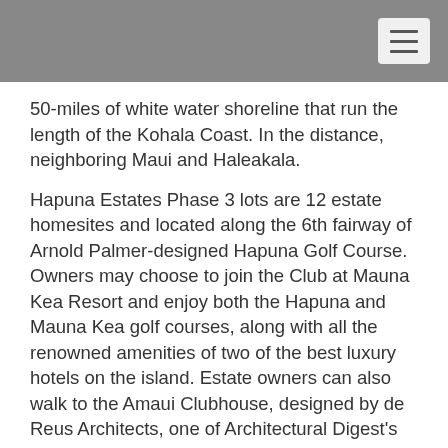50-miles of white water shoreline that run the length of the Kohala Coast. In the distance, neighboring Maui and Haleakala.
Hapuna Estates Phase 3 lots are 12 estate homesites and located along the 6th fairway of Arnold Palmer-designed Hapuna Golf Course. Owners may choose to join the Club at Mauna Kea Resort and enjoy both the Hapuna and Mauna Kea golf courses, along with all the renowned amenities of two of the best luxury hotels on the island. Estate owners can also walk to the Amaui Clubhouse, designed by de Reus Architects, one of Architectural Digest's 'Top 100 Architects and Designers.'
Lot 33 features most incredible panoramic ocean and coastline views as well as golf and majestic mountain views.